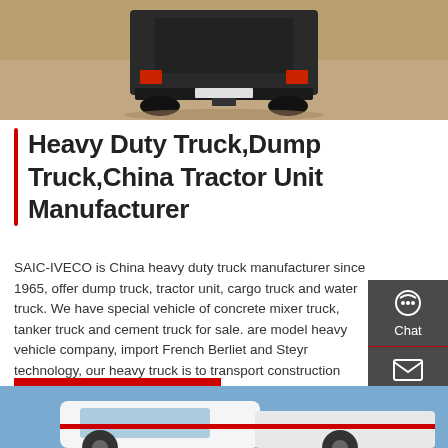[Figure (photo): Rear view of a heavy duty truck on sandy ground]
Heavy Duty Truck,Dump Truck,China Tractor Unit Manufacturer
SAIC-IVECO is China heavy duty truck manufacturer since 1965, offer dump truck, tractor unit, cargo truck and water truck. We have special vehicle of concrete mixer truck, tanker truck and cement truck for sale. are model heavy vehicle company, import French Berliet and Steyr technology, our heavy truck is to transport construction materials.
[Figure (other): Get a Quote red button]
[Figure (other): Right side panel with Chat, Email, Contact, Top icons]
[Figure (photo): Partial view of a truck against blue sky at bottom of page]